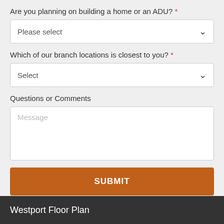Are you planning on building a home or an ADU? *
[Figure (screenshot): Dropdown select box with placeholder 'Please select' and a chevron arrow]
Which of our branch locations is closest to you? *
[Figure (screenshot): Dropdown select box with placeholder 'Select' and a chevron arrow]
Questions or Comments
[Figure (screenshot): Text area with placeholder text 'Message']
SUBMIT
Westport Floor Plan